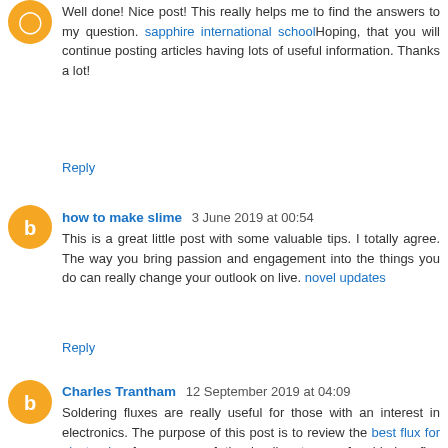Well done! Nice post! This really helps me to find the answers to my question. sapphire international schoolHoping, that you will continue posting articles having lots of useful information. Thanks a lot!
Reply
how to make slime  3 June 2019 at 00:54
This is a great little post with some valuable tips. I totally agree. The way you bring passion and engagement into the things you do can really change your outlook on live. novel updates
Reply
Charles Trantham  12 September 2019 at 04:09
Soldering fluxes are really useful for those with an interest in electronics. The purpose of this post is to review the best flux for electronics from some of the leading types of soldering flux products. Soldering is often used in